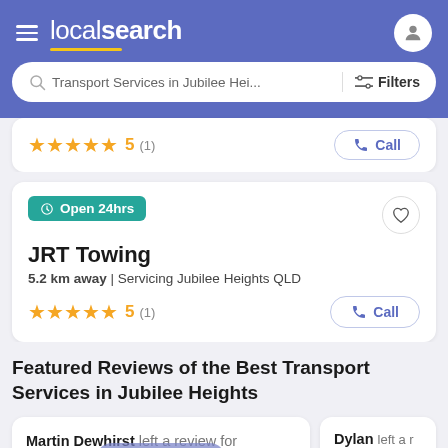localsearch
Transport Services in Jubilee Hei... Filters
★★★★★ 5 (1) Call
Open 24hrs
JRT Towing
5.2 km away | Servicing Jubilee Heights QLD
★★★★★ 5 (1) Call
Featured Reviews of the Best Transport Services in Jubilee Heights
Martin Dewhirst left a review for
Rizzo's TTE
Get Quotes
Dylan left a r
Johnson Rive...